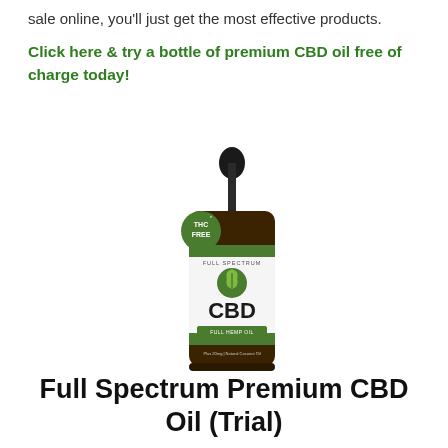sale online, you'll just get the most effective products.
Click here & try a bottle of premium CBD oil free of charge today!
[Figure (photo): A bottle of Full Spectrum Premium CBD Oil with a dropper cap and a green THC FREE badge on the label. The label shows a cannabis leaf logo, the text CBD in large letters, and FULL SPECTRUM HEMP OIL.]
Full Spectrum Premium CBD Oil (Trial)